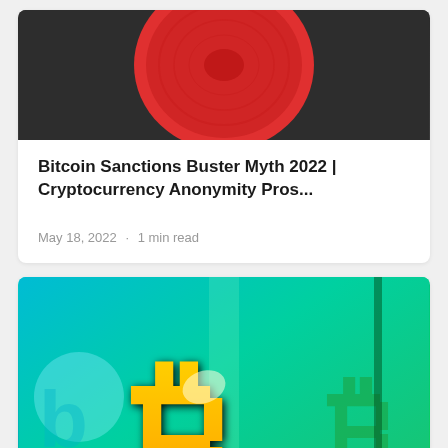[Figure (photo): Hand holding a red disc/frisbee against a dark background]
Bitcoin Sanctions Buster Myth 2022 | Cryptocurrency Anonymity Pros...
May 18, 2022  ·  1 min read
[Figure (photo): Gold Bitcoin symbol/logo held by a hand against a teal and green background with Bitcoin logos]
Can BTC Move To POC Hand Tool 24...